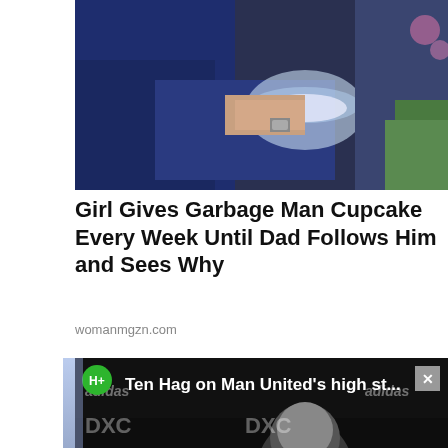[Figure (photo): Person in navy blue sweatshirt holding a clear plastic container/bowl, outdoors with green grass visible]
Girl Gives Garbage Man Cupcake Every Week Until Dad Follows Him and Sees Why
womanmgzn.com
[Figure (screenshot): Video thumbnail/player showing Ten Hag press conference with title 'Ten Hag on Man United's high st...' with play button, TeamViewer logos, adidas branding, and H+ badge]